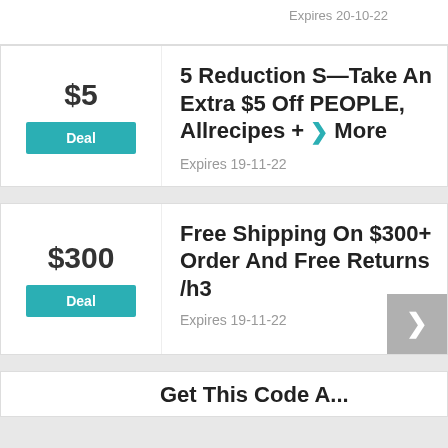Expires 20-10-22
$5
Deal
5 Reduction S—Take An Extra $5 Off PEOPLE, Allrecipes + More
Expires 19-11-22
$300
Deal
Free Shipping On $300+ Order And Free Returns /h3
Expires 19-11-22
Get This Code And...